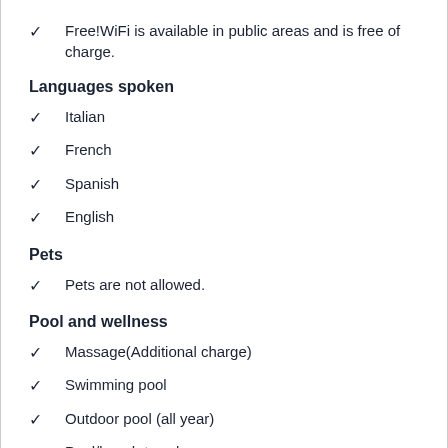Free!WiFi is available in public areas and is free of charge.
Languages spoken
Italian
French
Spanish
English
Pets
Pets are not allowed.
Pool and wellness
Massage(Additional charge)
Swimming pool
Outdoor pool (all year)
Pool/beach towels
Services